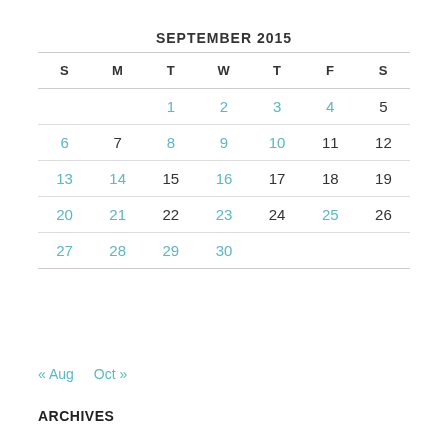| S | M | T | W | T | F | S |
| --- | --- | --- | --- | --- | --- | --- |
|  |  | 1 | 2 | 3 | 4 | 5 |
| 6 | 7 | 8 | 9 | 10 | 11 | 12 |
| 13 | 14 | 15 | 16 | 17 | 18 | 19 |
| 20 | 21 | 22 | 23 | 24 | 25 | 26 |
| 27 | 28 | 29 | 30 |  |  |  |
« Aug   Oct »
ARCHIVES